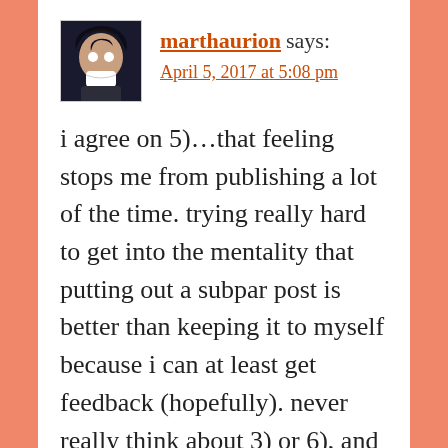[Figure (illustration): Anime avatar image showing a dark-haired character with white eyes/mask]
marthaurion says:
April 5, 2017 at 5:08 pm
i agree on 5)…that feeling stops me from publishing a lot of the time. trying really hard to get into the mentality that putting out a subpar post is better than keeping it to myself because i can at least get feedback (hopefully). never really think about 3) or 6), and im kinda the